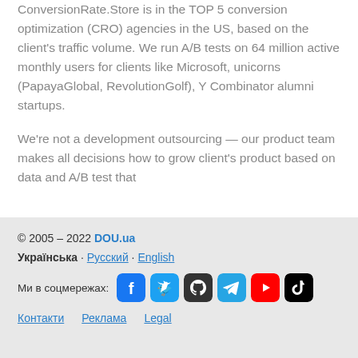ConversionRate.Store is in the TOP 5 conversion optimization (CRO) agencies in the US, based on the client's traffic volume. We run A/B tests on 64 million active monthly users for clients like Microsoft, unicorns (PapayaGlobal, RevolutionGolf), Y Combinator alumni startups.
We're not a development outsourcing — our product team makes all decisions how to grow client's product based on data and A/B test that
© 2005–2022 DOU.ua · Українська · Русский · English · Ми в соцмережах: [Facebook] [Twitter] [GitHub] [Telegram] [YouTube] [TikTok] · Контакти · Реклама · Legal